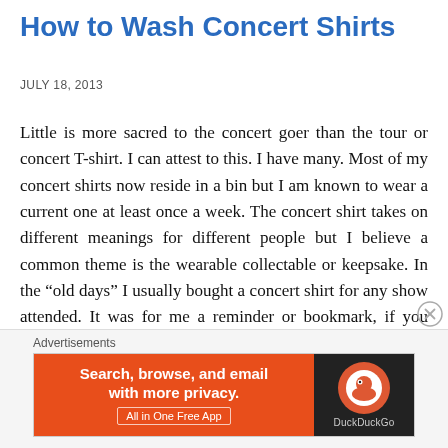How to Wash Concert Shirts
JULY 18, 2013
Little is more sacred to the concert goer than the tour or concert T-shirt. I can attest to this. I have many. Most of my concert shirts now reside in a bin but I am known to wear a current one at least once a week. The concert shirt takes on different meanings for different people but I believe a common theme is the wearable collectable or keepsake. In the “old days” I usually bought a concert shirt for any show attended. It was for me a reminder or bookmark, if you will, that I attended this concert during said ... Continue reading
Advertisements
[Figure (screenshot): DuckDuckGo advertisement banner with orange left side reading 'Search, browse, and email with more privacy. All in One Free App' and dark right side with DuckDuckGo logo and name.]